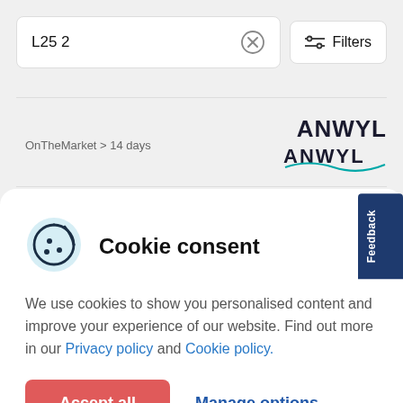L25 2
Filters
OnTheMarket > 14 days
[Figure (logo): Anwyl Thoughtful Homes logo — bold dark text ANWYL with teal underline/wave and italic tagline 'thoughtful homes']
Cookie consent
We use cookies to show you personalised content and improve your experience of our website. Find out more in our Privacy policy and Cookie policy.
Accept all
Manage options
Feedback